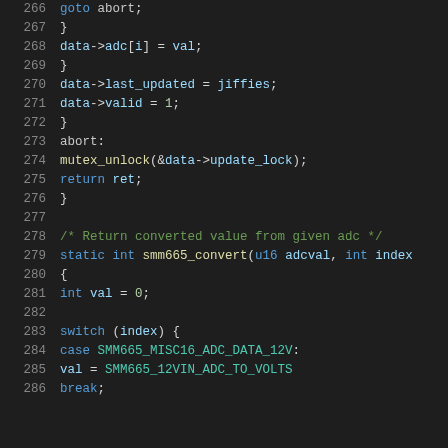[Figure (screenshot): Source code listing (C language) showing lines 266-286 of a Linux kernel driver for the SMM665 hardware monitor chip. Dark theme code editor. Lines include goto abort, data->adc[i] assignment, data->last_updated and data->valid assignments, abort label, mutex_unlock, return ret, closing brace, comment about returning converted ADC value, static int smm665_convert function declaration, int val = 0, switch(index), case SMM665_MISC16_ADC_DATA_12V, val = SMM665_12VIN_ADC_TO_VOLTS, break.]